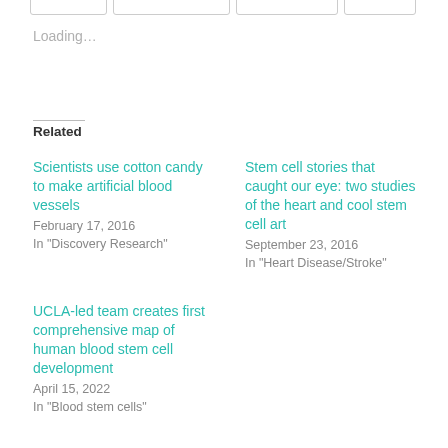Loading...
Related
Scientists use cotton candy to make artificial blood vessels
February 17, 2016
In "Discovery Research"
Stem cell stories that caught our eye: two studies of the heart and cool stem cell art
September 23, 2016
In "Heart Disease/Stroke"
UCLA-led team creates first comprehensive map of human blood stem cell development
April 15, 2022
In "Blood stem cells"